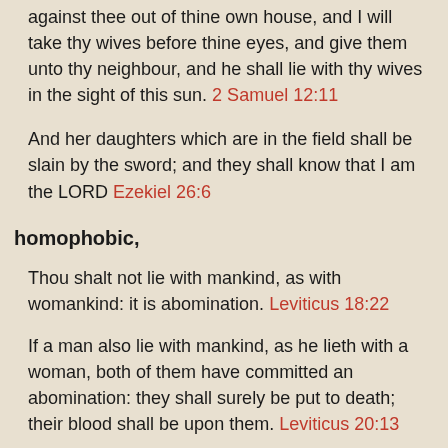against thee out of thine own house, and I will take thy wives before thine eyes, and give them unto thy neighbour, and he shall lie with thy wives in the sight of this sun. 2 Samuel 12:11
And her daughters which are in the field shall be slain by the sword; and they shall know that I am the LORD Ezekiel 26:6
homophobic,
Thou shalt not lie with mankind, as with womankind: it is abomination. Leviticus 18:22
If a man also lie with mankind, as he lieth with a woman, both of them have committed an abomination: they shall surely be put to death; their blood shall be upon them. Leviticus 20:13
racist,
One of the children of Israel came and brought unto his brethren a Midianitish woman in the sight of Moses… And when Phinehas… saw it